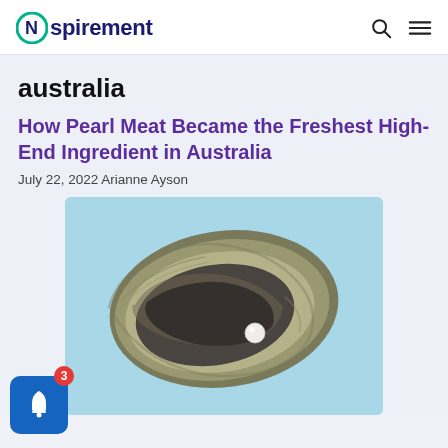Nspirement
australia
How Pearl Meat Became the Freshest High-End Ingredient in Australia
July 22, 2022 Arianne Ayson
[Figure (photo): An open pearl oyster shell on a light blue background, showing the oyster meat inside and a white pearl visible near the center-right of the shell.]